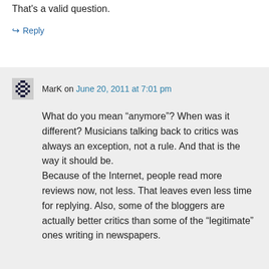That's a valid question.
↪ Reply
MarK on June 20, 2011 at 7:01 pm
What do you mean “anymore”? When was it different? Musicians talking back to critics was always an exception, not a rule. And that is the way it should be. Because of the Internet, people read more reviews now, not less. That leaves even less time for replying. Also, some of the bloggers are actually better critics than some of the “legitimate” ones writing in newspapers.